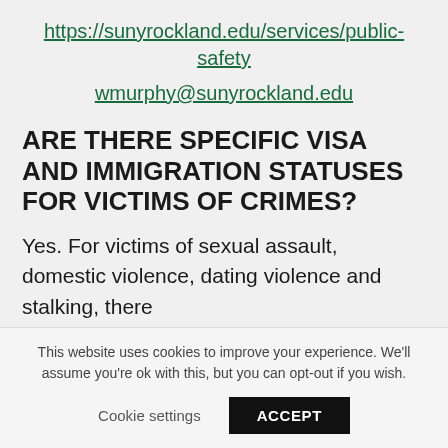https://sunyrockland.edu/services/public-safety
wmurphy@sunyrockland.edu
ARE THERE SPECIFIC VISA AND IMMIGRATION STATUSES FOR VICTIMS OF CRIMES?
Yes. For victims of sexual assault, domestic violence, dating violence and stalking, there
This website uses cookies to improve your experience. We'll assume you're ok with this, but you can opt-out if you wish.